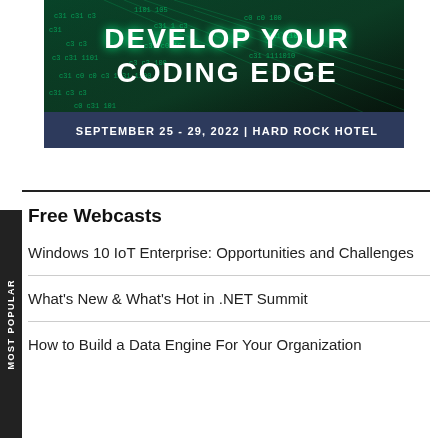[Figure (illustration): Conference banner for 'Develop Your Coding Edge' event with dark tech/code background, teal/green digital effects, white stylized text, and a dark blue bar at the bottom reading 'SEPTEMBER 25 - 29, 2022 | HARD ROCK HOTEL']
Free Webcasts
Windows 10 IoT Enterprise: Opportunities and Challenges
What's New & What's Hot in .NET Summit
How to Build a Data Engine For Your Organization